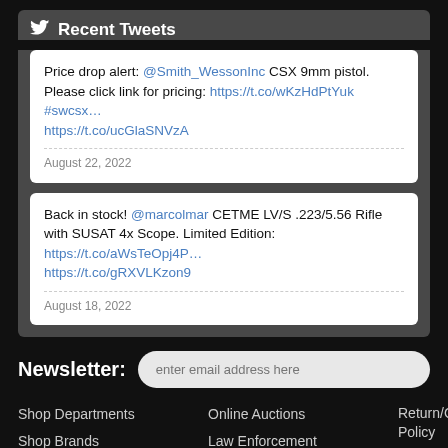Recent Tweets
Price drop alert: @Smith_WessonInc CSX 9mm pistol. Please click link for pricing: https://t.co/wKzHdPtYuk #swcsx… https://t.co/ucGlaSNVzA
August 22, 2022
Back in stock! @marcolmar CETME LV/S .223/5.56 Rifle with SUSAT 4x Scope. Limited Edition: https://t.co/aWsTeOpj4P… https://t.co/gRXVLKzon9
August 18, 2022
Newsletter:
Shop Departments
Shop Brands
Store Location
Online Auctions
Law Enforcement
Tactical
Return/Cancellation Policy
Ammunition Shipping